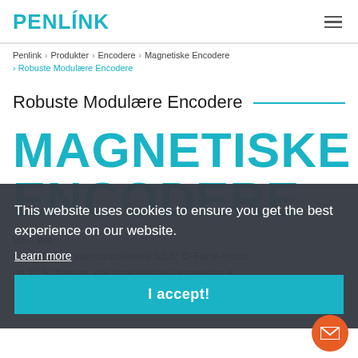PENLINK
Penlink > Produkter > Encodere > Magnetiske Encodere
> Robuste Modulære Encodere
Robuste Modulære Encodere
MAGNETISKE ENCODERE
This website uses cookies to ensure you get the best experience on our website.
Learn more
I accept!
Vo... ere passer op til standardiserede 12,5" C-Face-motor og 12,5" flanger, der almindeligvis anvendes til